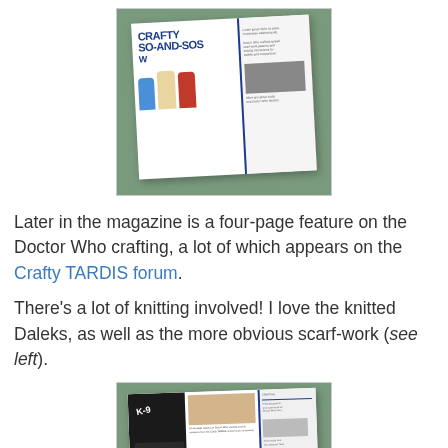[Figure (photo): An open magazine spread showing knitted Doctor Who Daleks in blue, cream, and red, with the title 'CRAFTY SO-AND-SOS W...' printed in large bold blue lettering. The magazine rests on a green cutting mat.]
Later in the magazine is a four-page feature on the Doctor Who crafting, a lot of which appears on the Crafty TARDIS forum.
There’s a lot of knitting involved! I love the knitted Daleks, as well as the more obvious scarf-work (see left).
[Figure (photo): An open magazine spread showing a black K-9 model and a photo of the Doctor, with text columns and blue dividers, resting on a green cutting mat.]